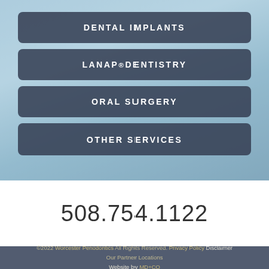[Figure (photo): Dental professional in blue coat using microscope or dental equipment, blurred background]
DENTAL IMPLANTS
LANAP® DENTISTRY
ORAL SURGERY
OTHER SERVICES
508.754.1122
©2022 Worcester Periodontics All Rights Reserved. Privacy Policy Disclaimer Our Partner Locations Website by MD+CO